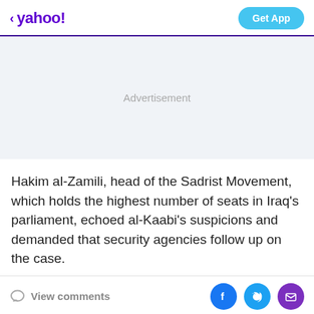< yahoo! | Get App
Advertisement
Hakim al-Zamili, head of the Sadrist Movement, which holds the highest number of seats in Iraq's parliament, echoed al-Kaabi's suspicions and demanded that security agencies follow up on the case.
View comments | Facebook | Twitter | Mail